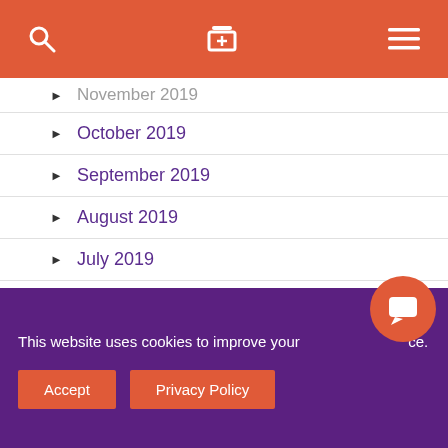Navigation header with search, cart, and menu icons
November 2019
October 2019
September 2019
August 2019
July 2019
June 2019
May 2019
April 2019
March 2019
February 2019
This website uses cookies to improve your experience.
Accept  Privacy Policy